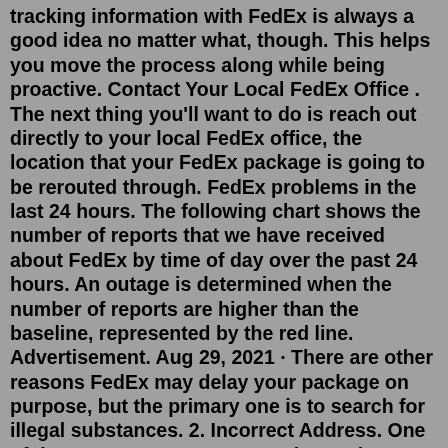tracking information with FedEx is always a good idea no matter what, though. This helps you move the process along while being proactive. Contact Your Local FedEx Office . The next thing you'll want to do is reach out directly to your local FedEx office, the location that your FedEx package is going to be rerouted through. FedEx problems in the last 24 hours. The following chart shows the number of reports that we have received about FedEx by time of day over the past 24 hours. An outage is determined when the number of reports are higher than the baseline, represented by the red line. Advertisement. Aug 29, 2021 · There are other reasons FedEx may delay your package on purpose, but the primary one is to search for illegal substances. 2. Incorrect Address. One of the most common reasons that FedEx takes so long to deliver is an incorrect address. There are several reasons an incorrect address may be on the shipping label. FedEx problems in the last 24 hours in Troutdale, Oregon. The following chart shows the number of reports that we have received about